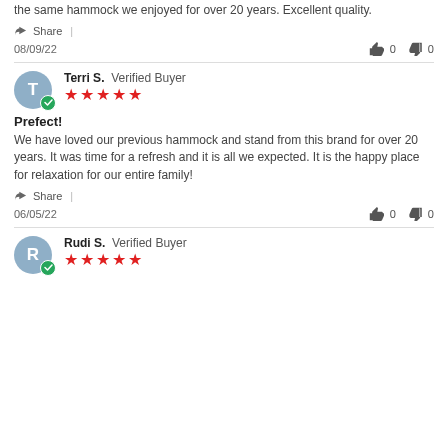the same hammock we enjoyed for over 20 years. Excellent quality.
Share |
08/09/22   👍 0   👎 0
Terri S.  Verified Buyer ★★★★★
Prefect!
We have loved our previous hammock and stand from this brand for over 20 years. It was time for a refresh and it is all we expected. It is the happy place for relaxation for our entire family!
Share |
06/05/22   👍 0   👎 0
Rudi S.  Verified Buyer ★★★★★